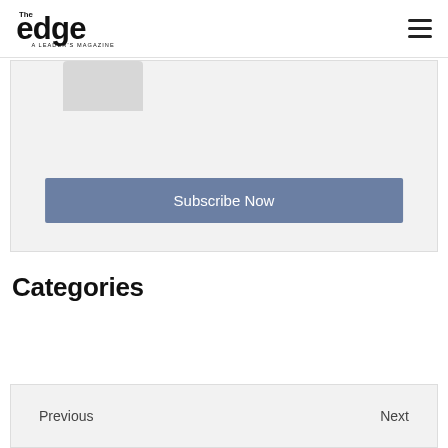The Edge — A Leader's Magazine
[Figure (logo): The Edge — A Leader's Magazine logo with stylized text and hamburger menu icon]
Subscribe Now
Categories
Previous | Next